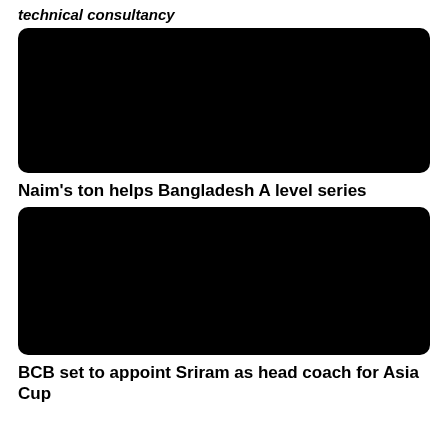technical consultancy
[Figure (photo): Dark/black image placeholder for article about technical consultancy]
Naim's ton helps Bangladesh A level series
[Figure (photo): Dark/black image placeholder for article about Naim's ton helping Bangladesh A level series]
BCB set to appoint Sriram as head coach for Asia Cup